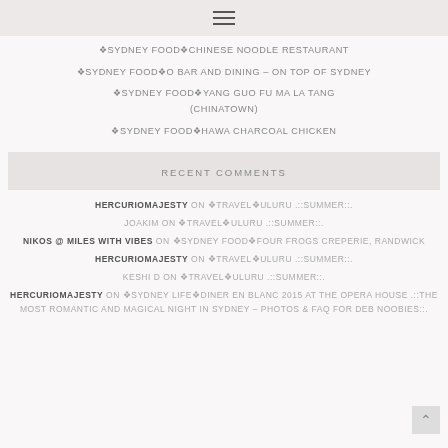≡
❶SYDNEY FOOD❶CHINESE NOODLE RESTAURANT
❶SYDNEY FOOD❶O BAR AND DINING – ON TOP OF SYDNEY
❶SYDNEY FOOD❶YANG GUO FU MA LA TANG (CHINATOWN)
❶SYDNEY FOOD❶HAWA CHARCOAL CHICKEN
RECENT COMMENTS
HERCURIOMAJESTY ON ❶TRAVEL❶ULURU .::SUMMER::.
JOAKIM ON ❶TRAVEL❶ULURU .::SUMMER::.
NIKOS @ MILES WITH VIBES ON ❶SYDNEY FOOD❶FOUR FROGS CREPERIE, RANDWICK
HERCURIOMAJESTY ON ❶TRAVEL❶ULURU .::SUMMER::.
KESHI D ON ❶TRAVEL❶ULURU .::SUMMER::.
HERCURIOMAJESTY ON ❶SYDNEY LIFE❶DINER EN BLANC 2015 AT THE OPERA HOUSE .::THE MOST ROMANTIC AND MAGICAL NIGHT IN SYDNEY – PHOTOS & FAQ FOR DEB NOOBIES::.